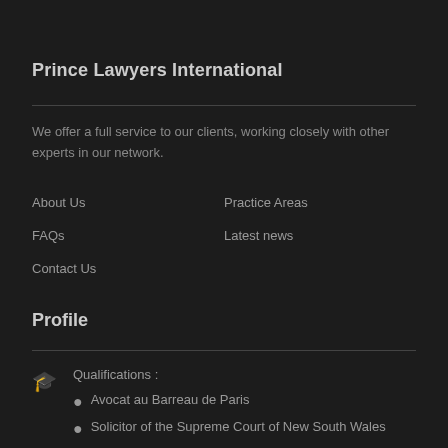Prince Lawyers International
We offer a full service to our clients, working closely with other experts in our network.
About Us
Practice Areas
FAQs
Latest news
Contact Us
Profile
Qualifications :
Avocat au Barreau de Paris
Solicitor of the Supreme Court of New South Wales